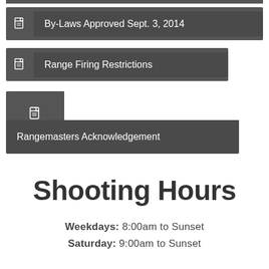By-Laws Approved Sept. 3, 2014
Range Firing Restrictions
Rangemasters Acknowledgement
Shooting Hours
Weekdays: 8:00am to Sunset
Saturday: 9:00am to Sunset